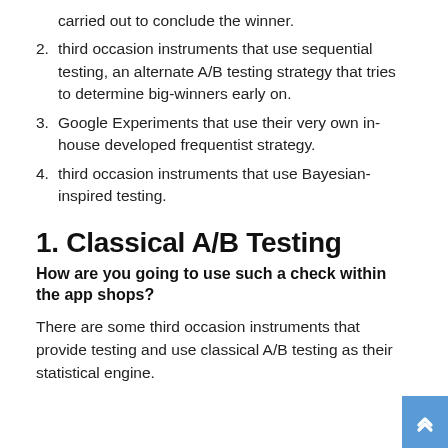carried out to conclude the winner.
third occasion instruments that use sequential testing, an alternate A/B testing strategy that tries to determine big-winners early on.
Google Experiments that use their very own in-house developed frequentist strategy.
third occasion instruments that use Bayesian-inspired testing.
1. Classical A/B Testing
How are you going to use such a check within the app shops?
There are some third occasion instruments that provide testing and use classical A/B testing as their statistical engine.